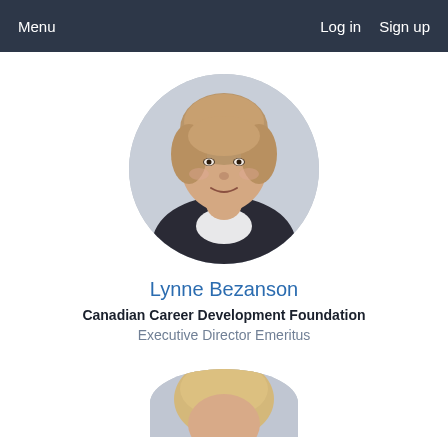Menu   Log in   Sign up
[Figure (photo): Circular cropped headshot of Lynne Bezanson, a woman with short blonde/light brown hair, wearing a dark jacket with white collar, smiling, against a grey background.]
Lynne Bezanson
Canadian Career Development Foundation
Executive Director Emeritus
[Figure (photo): Partial circular cropped headshot of a second person with blonde hair, only the top portion visible at the bottom of the page.]